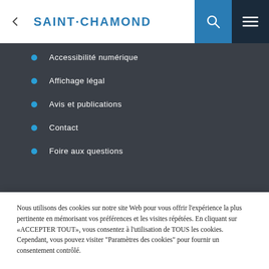SAINT·CHAMOND
Accessibilité numérique
Affichage légal
Avis et publications
Contact
Foire aux questions
Nous utilisons des cookies sur notre site Web pour vous offrir l'expérience la plus pertinente en mémorisant vos préférences et les visites répétées. En cliquant sur «ACCEPTER TOUT», vous consentez à l'utilisation de TOUS les cookies. Cependant, vous pouvez visiter "Paramètres des cookies" pour fournir un consentement contrôlé.
Paramètres des cookies | ACCEPTER TOUT